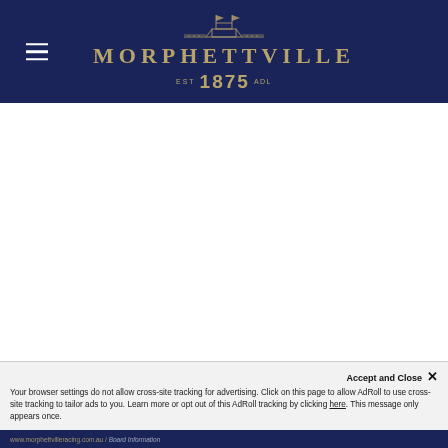[Figure (logo): Morphettville racecourse logo with illustration of racecourse grandstand silhouette, text MORPHETTVILLE in gold serif letters, and EST 1875 ADL below, on dark navy background]
Your browser settings do not allow cross-site tracking for advertising. Click on this page to allow AdRoll to use cross-site tracking to tailor ads to you. Learn more or opt out of this AdRoll tracking by clicking here. This message only appears once.
www.morphettvilleracing.com.au / Board Information